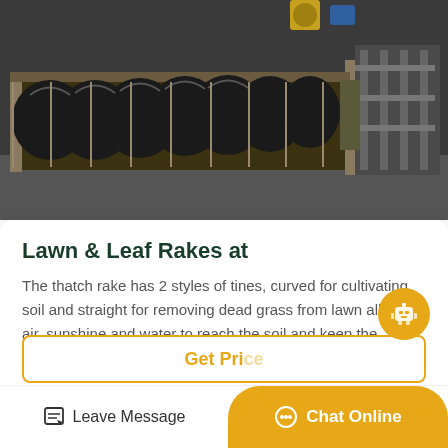[Figure (photo): Industrial machinery showing a series of large black circular discs/spiral augers mounted on a metal frame structure in what appears to be a factory or industrial setting]
Lawn & Leaf Rakes at
The thatch rake has 2 styles of tines, curved for cultivating soil and straight for removing dead grass from lawn allowing air, sunshine and water to reach the soil and keep the grass...
Get Price
Leave Message
Chat Online